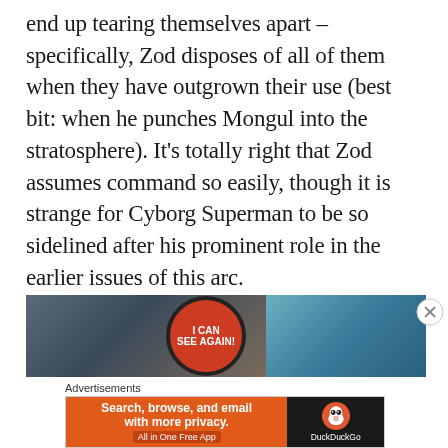end up tearing themselves apart – specifically, Zod disposes of all of them when they have outgrown their use (best bit: when he punches Mongul into the stratosphere). It's totally right that Zod assumes command so easily, though it is strange for Cyborg Superman to be so sidelined after his prominent role in the earlier issues of this arc.
[Figure (screenshot): Comic book advertisement image showing a speech bubble with 'I CAN SEE AGAIN!' text on a red circular badge, with dark and teal/blue backgrounds.]
Advertisements
[Figure (screenshot): DuckDuckGo advertisement banner: orange left section with 'Search, browse, and email with more privacy. All in One Free App' and black right section with DuckDuckGo duck logo.]